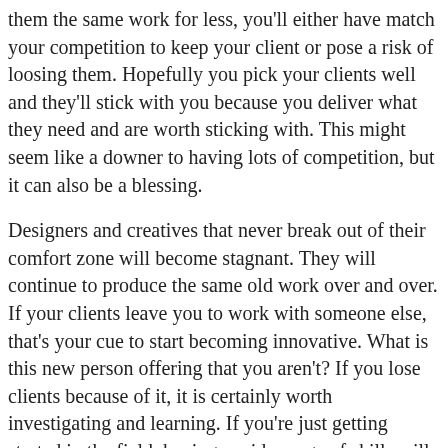them the same work for less, you'll either have match your competition to keep your client or pose a risk of loosing them. Hopefully you pick your clients well and they'll stick with you because you deliver what they need and are worth sticking with. This might seem like a downer to having lots of competition, but it can also be a blessing.
Designers and creatives that never break out of their comfort zone will become stagnant. They will continue to produce the same old work over and over. If your clients leave you to work with someone else, that's your cue to start becoming innovative. What is this new person offering that you aren't? If you lose clients because of it, it is certainly worth investigating and learning. If you're just getting started in the field, having a wide range of skills will make you far more valuable.